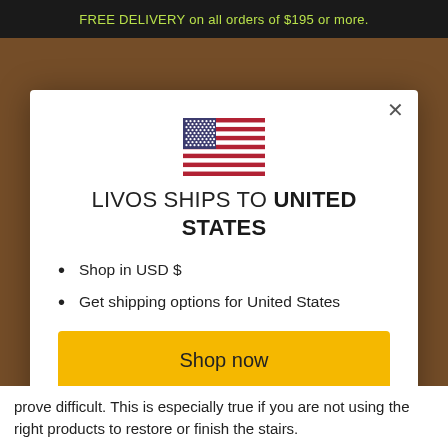FREE DELIVERY on all orders of $195 or more.
[Figure (illustration): US flag icon]
LIVOS SHIPS TO UNITED STATES
Shop in USD $
Get shipping options for United States
Shop now
Change shipping country
prove difficult. This is especially true if you are not using the right products to restore or finish the stairs.